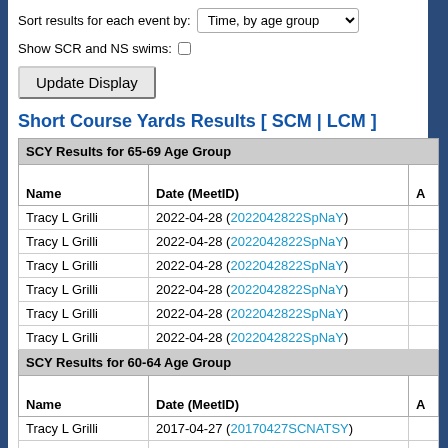Sort results for each event by: Time, by age group
Show SCR and NS swims: (checkbox)
Update Display
Short Course Yards Results [ SCM | LCM ]
| Name | Date (MeetID) | A |
| --- | --- | --- |
| SCY Results for 65-69 Age Group |  |  |
| Name | Date (MeetID) | A |
| Tracy L Grilli | 2022-04-28 (2022042822SpNaY) |  |
| Tracy L Grilli | 2022-04-28 (2022042822SpNaY) |  |
| Tracy L Grilli | 2022-04-28 (2022042822SpNaY) |  |
| Tracy L Grilli | 2022-04-28 (2022042822SpNaY) |  |
| Tracy L Grilli | 2022-04-28 (2022042822SpNaY) |  |
| Tracy L Grilli | 2022-04-28 (2022042822SpNaY) |  |
| SCY Results for 60-64 Age Group |  |  |
| Name | Date (MeetID) | A |
| Tracy L Grilli | 2017-04-27 (20170427SCNATSY) |  |
| Tracy L Grilli | 2017-04-27 (20170427SCNATSY) |  |